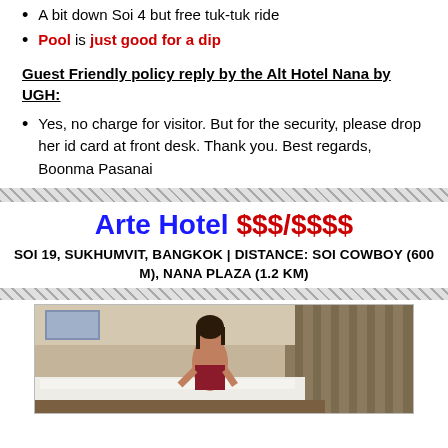A bit down Soi 4 but free tuk-tuk ride
Pool is just good for a dip
Guest Friendly policy reply by the Alt Hotel Nana by UGH:
Yes, no charge for visitor. But for the security, please drop her id card at front desk. Thank you. Best regards, Boonma Pasanai
Arte Hotel  $$$/$$$$
SOI 19, SUKHUMVIT, BANGKOK | DISTANCE: SOI COWBOY (600 M), NANA PLAZA (1.2 KM)
[Figure (photo): Hotel room photo showing a woman sitting on a bed with curtains in background]